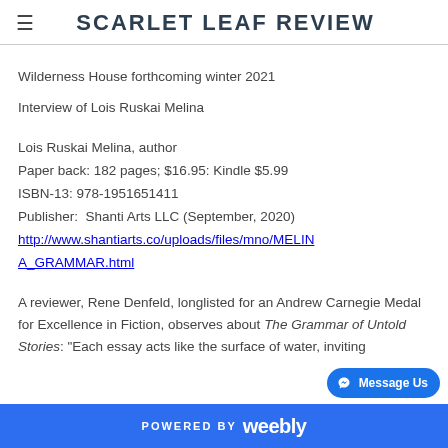SCARLET LEAF REVIEW
Wilderness House forthcoming winter 2021
Interview of Lois Ruskai Melina
Lois Ruskai Melina, author
Paper back: 182 pages; $16.95: Kindle $5.99
ISBN-13: 978-1951651411
Publisher:  Shanti Arts LLC (September, 2020)
http://www.shantiarts.co/uploads/files/mno/MELINA_GRAMMAR.html
A reviewer, Rene Denfeld, longlisted for an Andrew Carnegie Medal for Excellence in Fiction, observes about The Grammar of Untold Stories: "Each essay acts like the surface of water, inviting
POWERED BY weebly